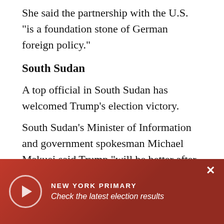She said the partnership with the U.S. "is a foundation stone of German foreign policy."
South Sudan
A top official in South Sudan has welcomed Trump's election victory.
South Sudan's Minister of Information and government spokesman Michael Makuei said Trump "will be better after all" for his nation.
Makeui said "I really doubt President Obama had any clear policy to South Sudan other than to destroy it. So we will definitely [support] Trump -- and the U[..."
Cambodia
[Figure (infographic): Overlay banner with gradient red background, play button, NEW YORK PRIMARY headline and 'Check the latest election results' subtitle, with close X button]